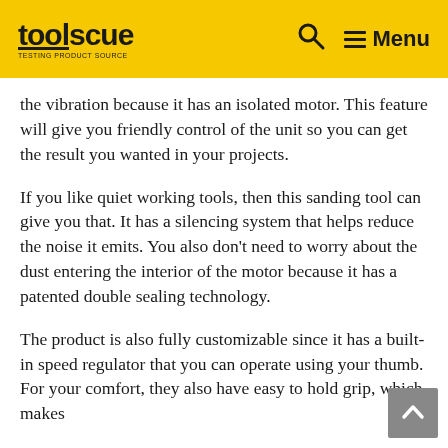toolscue — Testing Product Source | Search | Menu
the vibration because it has an isolated motor. This feature will give you friendly control of the unit so you can get the result you wanted in your projects.
If you like quiet working tools, then this sanding tool can give you that. It has a silencing system that helps reduce the noise it emits. You also don't need to worry about the dust entering the interior of the motor because it has a patented double sealing technology.
The product is also fully customizable since it has a built-in speed regulator that you can operate using your thumb. For your comfort, they also have easy to hold grip, which makes